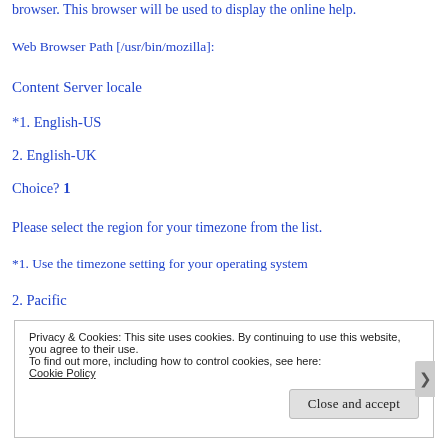browser. This browser will be used to display the online help.
Web Browser Path [/usr/bin/mozilla]:
Content Server locale
*1. English-US
2. English-UK
Choice? 1
Please select the region for your timezone from the list.
*1. Use the timezone setting for your operating system
2. Pacific
Privacy & Cookies: This site uses cookies. By continuing to use this website, you agree to their use.
To find out more, including how to control cookies, see here:
Cookie Policy
Close and accept